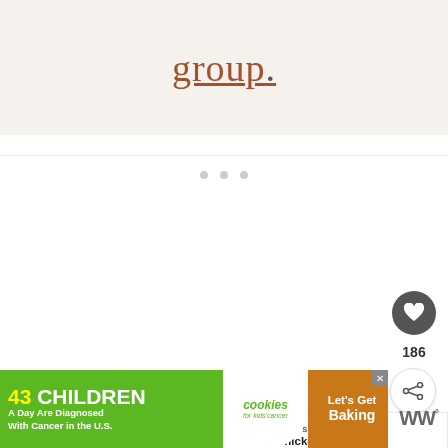group.
[Figure (screenshot): White content area with three small gray dots (loading indicator) and UI elements including a heart/like button showing 186 likes, a share button, and a 'What's Next' card showing 'Chicken Tortilla Onio...']
[Figure (infographic): Advertisement banner: '43 CHILDREN A Day Are Diagnosed With Cancer in the U.S.' with cookies for kids cancer logo and 'Let's Get Baking' text]
WW°